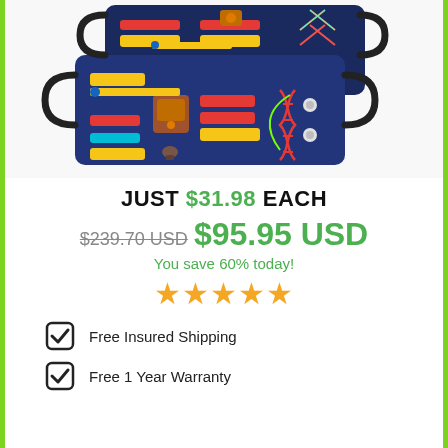[Figure (photo): Two colorful busy board toys with straps, buckles, zippers and laces on a dark navy background]
JUST $31.98 EACH
$239.70 USD $95.95 USD
You save 60% today!
[Figure (other): Five gold star rating icons]
Free Insured Shipping
Free 1 Year Warranty